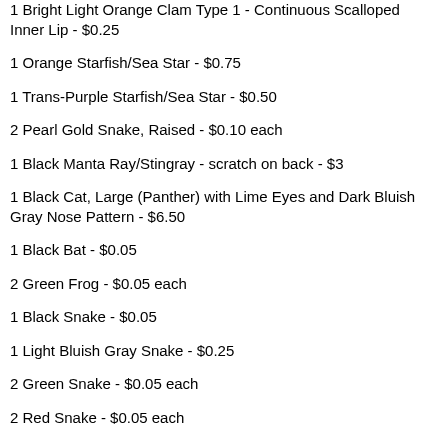1 Bright Light Orange Clam Type 1 - Continuous Scalloped Inner Lip - $0.25
1 Orange Starfish/Sea Star - $0.75
1 Trans-Purple Starfish/Sea Star - $0.50
2 Pearl Gold Snake, Raised - $0.10 each
1 Black Manta Ray/Stingray - scratch on back - $3
1 Black Cat, Large (Panther) with Lime Eyes and Dark Bluish Gray Nose Pattern - $6.50
1 Black Bat - $0.05
2 Green Frog - $0.05 each
1 Black Snake - $0.05
1 Light Bluish Gray Snake - $0.25
2 Green Snake - $0.05 each
2 Red Snake - $0.05 each